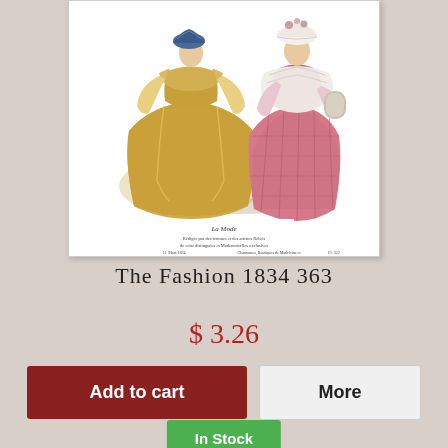[Figure (illustration): Vintage 1834 fashion illustration showing two women in period dresses — one in yellow/gold and one in pink — viewed from behind/side, with decorative hats. Caption text at bottom reads 'La Mode' with additional French text and date '11. Mars 1834'.]
The Fashion 1834 363
$ 3.26
Add to cart
More
In Stock